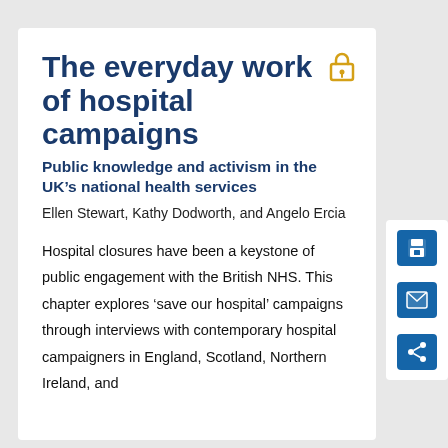The everyday work of hospital campaigns
Public knowledge and activism in the UK’s national health services
Ellen Stewart, Kathy Dodworth, and Angelo Ercia
Hospital closures have been a keystone of public engagement with the British NHS. This chapter explores ‘save our hospital’ campaigns through interviews with contemporary hospital campaigners in England, Scotland, Northern Ireland, and